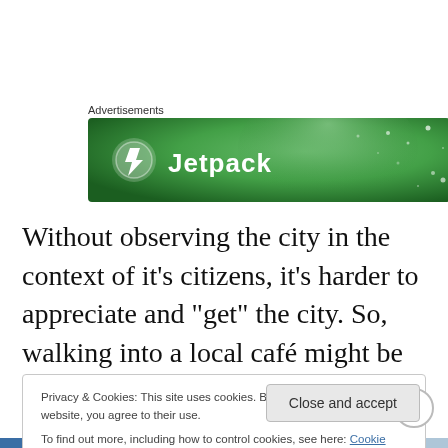Advertisements
[Figure (other): Green advertisement banner for Jetpack with circular logo icon and text 'Jetpack' with decorative dots pattern]
Without observing the city in the context of it’s citizens, it’s harder to appreciate and “get” the city. So, walking into a local café might be the best decision you’ll make when in a new city. My advice for travellers is to not be afraid and talk to people, as they are the ones who make the
Privacy & Cookies: This site uses cookies. By continuing to use this website, you agree to their use.
To find out more, including how to control cookies, see here: Cookie Policy